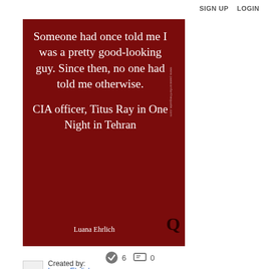SIGN UP   LOGIN
[Figure (illustration): Dark red/maroon quote card with white serif text reading: 'Someone had once told me I was a pretty good-looking guy. Since then, no one had told me otherwise. CIA officer, Titus Ray in One Night in Tehran' attributed to Luana Ehrlich. Has a vertical watermark 'www.passionforthequote.com' and a 'Q' logo in the bottom right corner.]
6   0
Created by:
Luana Ehrlich